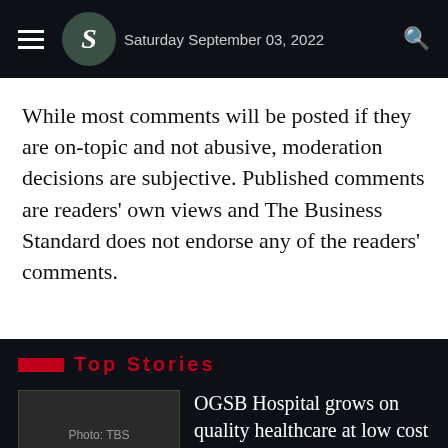Saturday September 03, 2022
While most comments will be posted if they are on-topic and not abusive, moderation decisions are subjective. Published comments are readers' own views and The Business Standard does not endorse any of the readers' comments.
Top Stories
OGSB Hospital grows on quality healthcare at low cost